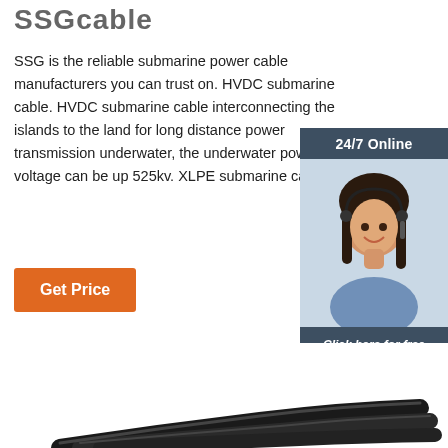SSGcable
SSG is the reliable submarine power cable manufacturers you can trust on. HVDC submarine cable. HVDC submarine cable interconnecting the islands to the land for long distance power transmission underwater, the underwater power cable voltage can be up 525kv. XLPE submarine cable.
[Figure (infographic): 24/7 Online chat widget with a smiling female customer service representative wearing a headset, a 'Click here for free chat!' prompt, and an orange QUOTATION button, on a dark navy background.]
Get Price
[Figure (photo): Photo of black submarine power cables coiled/bundled at the bottom of the page.]